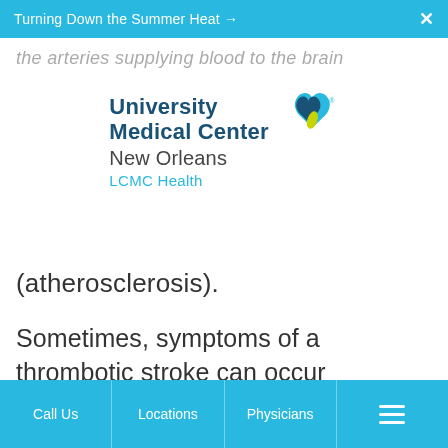Turning Down the Summer Heat →  ×
[Figure (logo): University Medical Center New Orleans LCMC Health logo with teal and dark blue heart icon]
(atherosclerosis).
Sometimes, symptoms of a thrombotic stroke can occur suddenly. They can happen during sleep or in the early morning. At other times, it may occur gradually over a period of hours or even
Call Us    Locations    Physicians    ☰